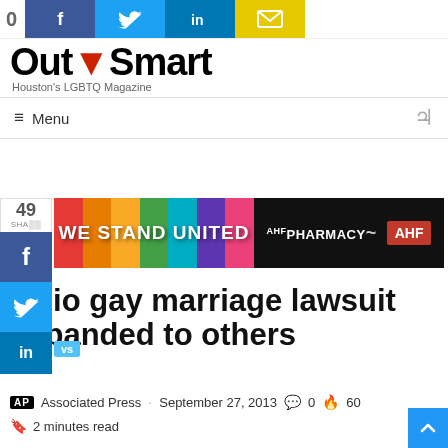OutSmart — Houston's LGBTQ Magazine
[Figure (screenshot): Social share buttons bar at top: share count 0, Facebook, Twitter, LinkedIn, Email buttons]
[Figure (logo): OutSmart Houston's LGBTQ Magazine logo]
Menu
[Figure (infographic): AHF Pharmacy We Stand United rainbow advertisement banner]
Ohio gay marriage lawsuit expanded to others
AP Associated Press · September 27, 2013 · 0 comments · 60 fire
2 minutes read